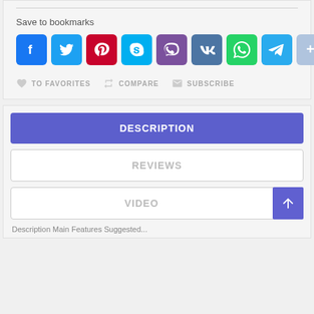Save to bookmarks
[Figure (screenshot): Row of social sharing icon buttons: Facebook, Twitter, Pinterest, Skype, Viber, VK, WhatsApp, Telegram, More]
TO FAVORITES   COMPARE   SUBSCRIBE
DESCRIPTION
REVIEWS
VIDEO
Description Main Features Suggested...